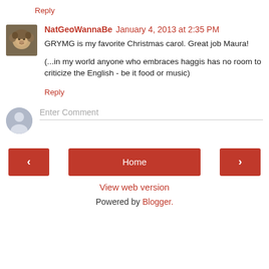Reply
NatGeoWannaBe  January 4, 2013 at 2:35 PM
GRYMG is my favorite Christmas carol. Great job Maura!

(...in my world anyone who embraces haggis has no room to criticize the English - be it food or music)
Reply
Enter Comment
Home
View web version
Powered by Blogger.